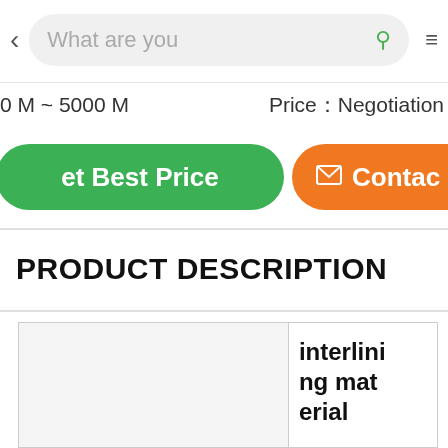[Figure (screenshot): Mobile app navigation bar with back arrow, search input field showing 'What are you', search icon (green), and hamburger menu icon]
0 M ~ 5000 M    Price：Negotiation
et Best Price
Contac
PRODUCT DESCRIPTION
|  | interlining material |